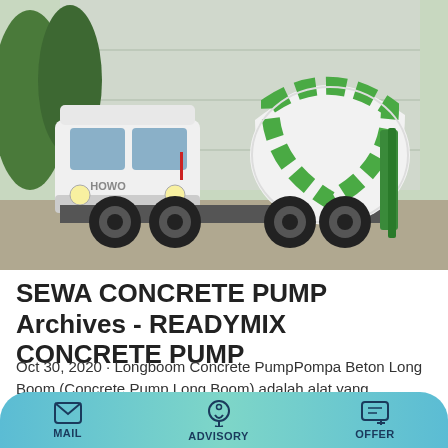[Figure (photo): A white and green concrete mixer truck (HOWO brand) parked in front of an industrial building with green trees in the background.]
SEWA CONCRETE PUMP Archives - READYMIX CONCRETE PUMP
Oct 30, 2020 · Longboom Concrete PumpPompa Beton Long Boom (Concrete Pump Long Boom) adalah alat yang digunakan pada proses pengecoran mall, apartemen, perkantoran dan gedung bertingkat 4 – 5 lantai. Pompa Beton
MAIL   ADVISORY   OFFER